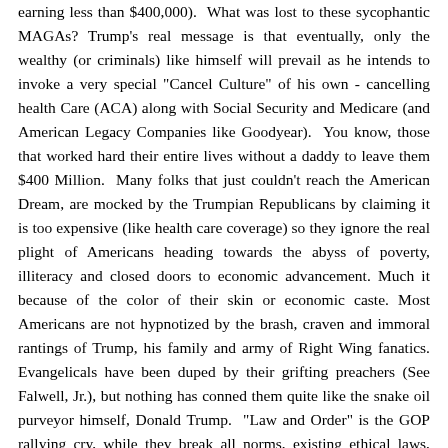earning less than $400,000). What was lost to these sycophantic MAGAs? Trump's real message is that eventually, only the wealthy (or criminals) like himself will prevail as he intends to invoke a very special "Cancel Culture" of his own - cancelling health Care (ACA) along with Social Security and Medicare (and American Legacy Companies like Goodyear). You know, those that worked hard their entire lives without a daddy to leave them $400 Million. Many folks that just couldn't reach the American Dream, are mocked by the Trumpian Republicans by claiming it is too expensive (like health care coverage) so they ignore the real plight of Americans heading towards the abyss of poverty, illiteracy and closed doors to economic advancement. Much it because of the color of their skin or economic caste. Most Americans are not hypnotized by the brash, craven and immoral rantings of Trump, his family and army of Right Wing fanatics. Evangelicals have been duped by their grifting preachers (See Falwell, Jr.), but nothing has conned them quite like the snake oil purveyor himself, Donald Trump. "Law and Order" is the GOP rallying cry, while they break all norms, existing ethical laws, Rules relating to subpoenas, and gun laws (in favor of Trump supporting White Nationalists and "Q" Anti-Semites).